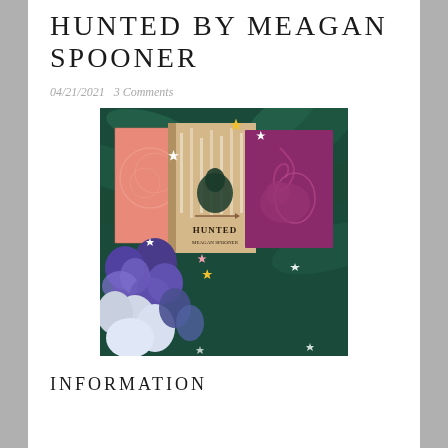HUNTED BY MEAGAN SPOONER
04/21/2021   3 Comments
[Figure (photo): Photo of the book 'Hunted' by Meagan Spooner, displayed among blue and white artificial flowers against a dark tropical leaf background, with star-shaped confetti scattered around. The book cover shows a hooded figure in a dark green cloak in a snowy forest.]
INFORMATION